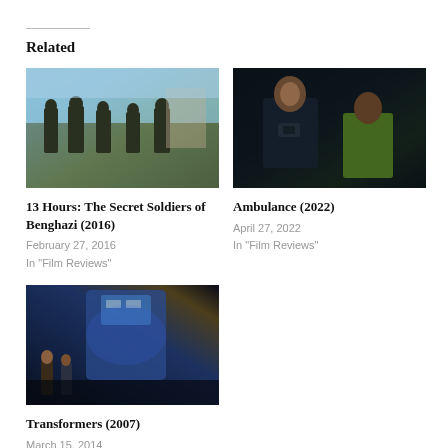Related
[Figure (photo): Movie still from 13 Hours: The Secret Soldiers of Benghazi showing armed soldiers in military gear outdoors]
13 Hours: The Secret Soldiers of Benghazi (2016)
February 27, 2016
In "Film Reviews"
[Figure (photo): Movie still from Ambulance (2022) showing a man using a radio/phone with another person in background]
Ambulance (2022)
April 27, 2022
In "Film Reviews"
[Figure (photo): Movie still from Transformers (2007) showing characters near a Transformer robot]
Transformers (2007)
March 15, 2014
In "Film Reviews"